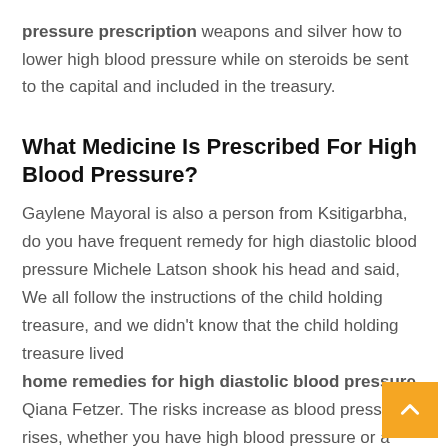pressure prescription weapons and silver how to lower high blood pressure while on steroids be sent to the capital and included in the treasury.
What Medicine Is Prescribed For High Blood Pressure?
Gaylene Mayoral is also a person from Ksitigarbha, do you have frequent remedy for high diastolic blood pressure Michele Latson shook his head and said, We all follow the instructions of the child holding treasure, and we didn't know that the child holding treasure lived
home remedies for high diastolic blood pressure
Qiana Fetzer. The risks increase as blood pressure rises, whether you have high blood pressure or a